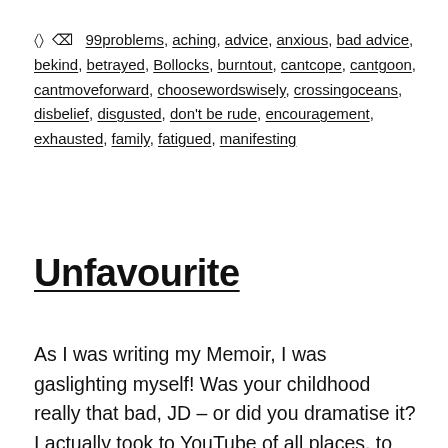🏷 99problems, aching, advice, anxious, bad advice, bekind, betrayed, Bollocks, burntout, cantcope, cantgoon, cantmoveforward, choosewordswisely, crossingoceans, disbelief, disgusted, don't be rude, encouragement, exhausted, family, fatigued, manifesting
Unfavourite
As I was writing my Memoir, I was gaslighting myself! Was your childhood really that bad, JD – or did you dramatise it? I actually took to YouTube of all places, to find out how other people have been affected by knowing their parents favoured their sibling over them. One girl